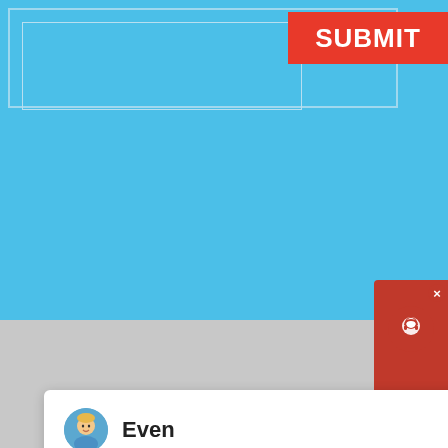[Figure (screenshot): Sky blue form area with input box outline and a red SUBMIT button in the top right]
SUBMIT
[Figure (screenshot): Chat widget popup showing avatar of agent 'Even' with message: Hello, I am Even, I am very glad to talk with you! A close X button is in the top right of the popup. A dark tab with 'at' and 'w' text partially visible on the right edge. A blue circle badge with number 1.]
Even
Hello, I am Even, I am very glad to talk with you!
[Figure (illustration): 3D caricature figure of an old man with glasses, wearing a light shirt, frowning expression, from chest up, centered at bottom of page]